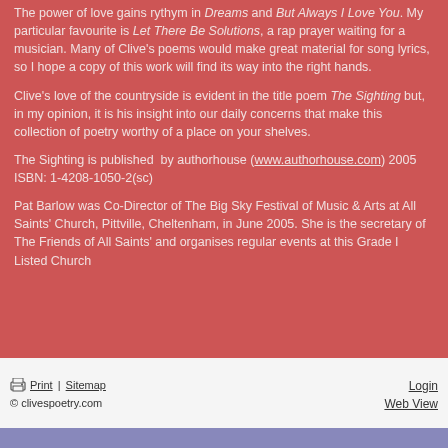The power of love gains rythym in Dreams and But Always I Love You. My particular favourite is Let There Be Solutions, a rap prayer waiting for a musician. Many of Clive's poems would make great material for song lyrics, so I hope a copy of this work will find its way into the right hands.
Clive's love of the countryside is evident in the title poem The Sighting but, in my opinion, it is his insight into our daily concerns that make this collection of poetry worthy of a place on your shelves.
The Sighting is published by authorhouse (www.authorhouse.com) 2005 ISBN: 1-4208-1050-2(sc)
Pat Barlow was Co-Director of The Big Sky Festival of Music & Arts at All Saints' Church, Pittville, Cheltenham, in June 2005. She is the secretary of The Friends of All Saints' and organises regular events at this Grade I Listed Church
Print | Sitemap    Login
© clivespoetry.com    Web View